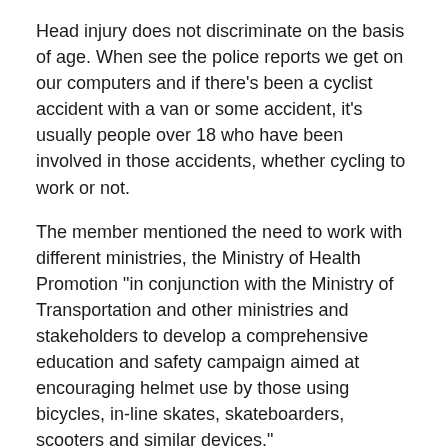Head injury does not discriminate on the basis of age. When see the police reports we get on our computers and if there's been a cyclist accident with a van or some accident, it's usually people over 18 who have been involved in those accidents, whether cycling to work or not.
The member mentioned the need to work with different ministries, the Ministry of Health Promotion "in conjunction with the Ministry of Transportation and other ministries and stakeholders to develop a comprehensive education and safety campaign aimed at encouraging helmet use by those using bicycles, in-line skates, skateboarders, scooters and similar devices."
British Columbia, Nova Scotia, New Brunswick and Prince Edward Island have legislation requiring all cyclists to wear helmets. There is some research here that says a properly fitted helmet helps protect the head by absorbing the force from a crash or a fall and decreases the risk of serious head injury by as much as 85% and brain injury by as much